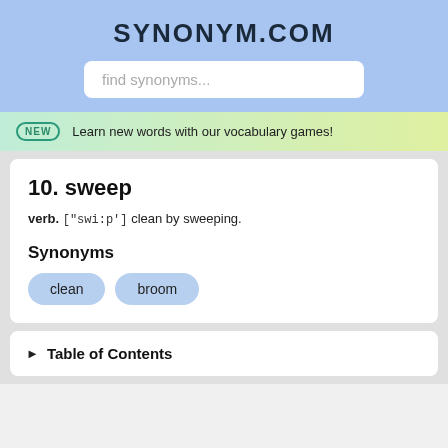SYNONYM.COM
find synonyms...
NEW  Learn new words with our vocabulary games!
10. sweep
verb. ["swi:p'] clean by sweeping.
Synonyms
clean
broom
Table of Contents